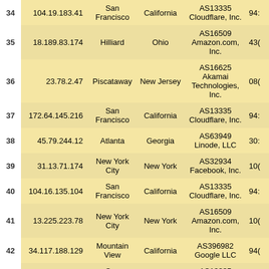| # | IP | City | State | ASN/Org | ... |
| --- | --- | --- | --- | --- | --- |
| 34 | 104.19.183.41 | San Francisco | California | AS13335 Cloudflare, Inc. | 94: |
| 35 | 18.189.83.174 | Hilliard | Ohio | AS16509 Amazon.com, Inc. | 43( |
| 36 | 23.78.2.47 | Piscataway | New Jersey | AS16625 Akamai Technologies, Inc. | 08( |
| 37 | 172.64.145.216 | San Francisco | California | AS13335 Cloudflare, Inc. | 94: |
| 38 | 45.79.244.12 | Atlanta | Georgia | AS63949 Linode, LLC | 30: |
| 39 | 31.13.71.174 | New York City | New York | AS32934 Facebook, Inc. | 10( |
| 40 | 104.16.135.104 | San Francisco | California | AS13335 Cloudflare, Inc. | 94: |
| 41 | 13.225.223.78 | New York City | New York | AS16509 Amazon.com, Inc. | 10( |
| 42 | 34.117.188.129 | Mountain View | California | AS396982 Google LLC | 94( |
| 43 | 104.18.42.40 | San Francisco | California | AS13335 Cloudflare, Inc. | 94: |
| 44 | 104.18.161.35 | San | California | AS13335 | 94: |